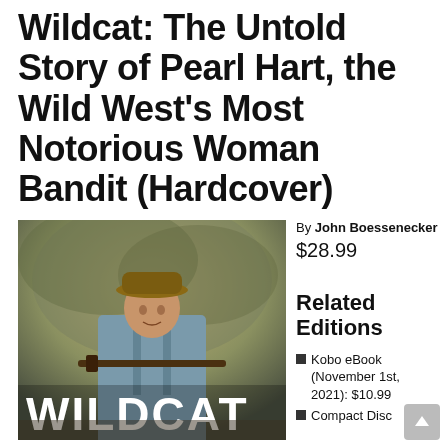Wildcat: The Untold Story of Pearl Hart, the Wild West's Most Notorious Woman Bandit (Hardcover)
[Figure (photo): Book cover for Wildcat showing a woman in a cowboy hat and suspenders holding a rifle, with the word WILDCAT in large white text across the bottom]
By John Boessenecker
$28.99
Related Editions
Kobo eBook (November 1st, 2021): $10.99
Compact Disc